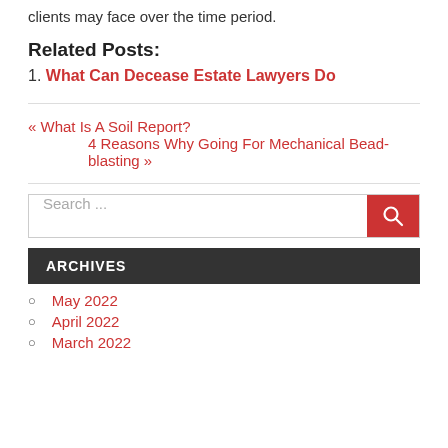clients may face over the time period.
Related Posts:
1. What Can Decease Estate Lawyers Do
« What Is A Soil Report?
4 Reasons Why Going For Mechanical Bead-blasting »
Search ...
ARCHIVES
May 2022
April 2022
March 2022